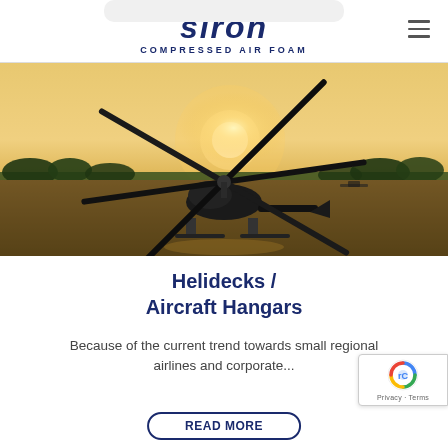SIRON COMPRESSED AIR FOAM
[Figure (photo): Helicopter parked on a tarmac/helipad at golden hour, viewed from behind with rotor blades visible and sun glowing on horizon with trees in background.]
Helidecks / Aircraft Hangars
Because of the current trend towards small regional airlines and corporate...